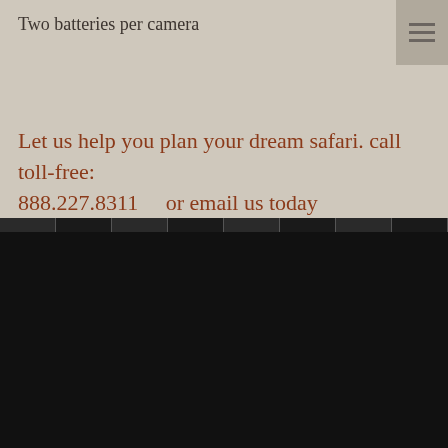Two batteries per camera
Let us help you plan your dream safari. call toll-free: 888.227.8311    or email us today
Search
Email Us ›    888.227.8311
Privacy Policy  |  Terms of Use  |  Full Site
© 2015-2022 Classic Africa. All Rights Reserved.
Luxury African Safari Photos - African Photo Safaris
Web Solutions